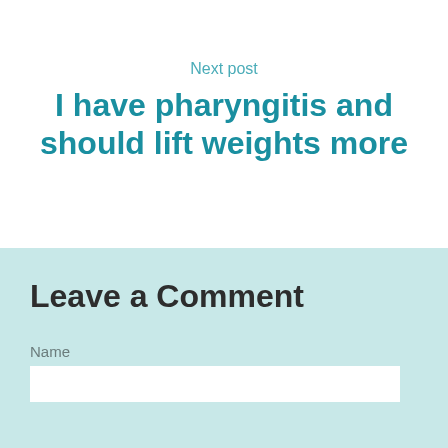Next post
I have pharyngitis and should lift weights more
Leave a Comment
Name